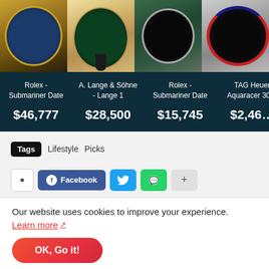[Figure (photo): Four luxury watch product images in a horizontal row: Rolex Submariner Date on wrist with gold bracelet, A. Lange & Söhne Lange 1 with dark green dial on leather strap, Rolex Submariner Date with black dial on bracelet, TAG Heuer Aquaracer 300 with red/blue bezel on bracelet.]
| Watch | Price |
| --- | --- |
| Rolex - Submariner Date | $46,777 |
| A. Lange & Söhne - Lange 1 | $28,500 |
| Rolex - Submariner Date | $15,745 |
| TAG Heuer Aquaracer 300 | $2,460 |
Tags  Lifestyle  Picks
Our website uses cookies to improve your experience.
Learn more ↗
OK, Go it!